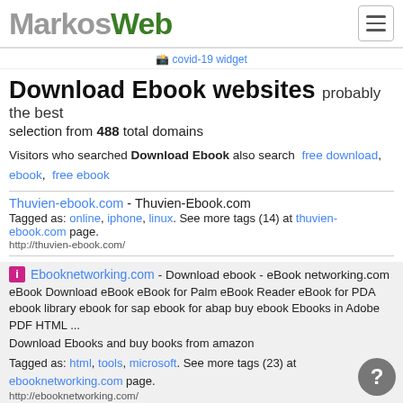MarkosWeb
[Figure (other): covid-19 widget image placeholder]
Download Ebook websites probably the best selection from 488 total domains
Visitors who searched Download Ebook also search  free download,  ebook,  free ebook
Thuvien-ebook.com - Thuvien-Ebook.com
Tagged as: online, iphone, linux. See more tags (14) at thuvien-ebook.com page.
http://thuvien-ebook.com/
Ebooknetworking.com - Download ebook - eBook networking.com
eBook Download eBook eBook for Palm eBook Reader eBook for PDA ebook library ebook for sap ebook for abap buy ebook Ebooks in Adobe PDF HTML ...
Download Ebooks and buy books from amazon
Tagged as: html, tools, microsoft. See more tags (23) at ebooknetworking.com page.
http://ebooknetworking.com/